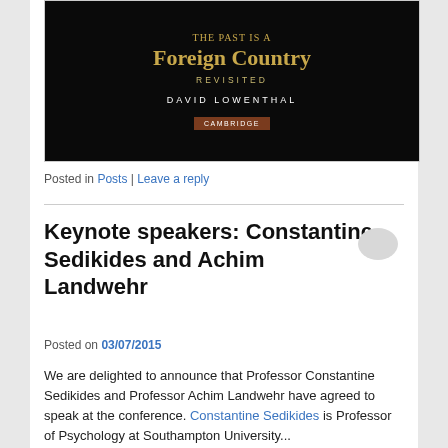[Figure (photo): Book cover of 'The Past is a Foreign Country Revisited' by David Lowenthal, published by Cambridge. Dark/black background with gold title text and white author name, brown Cambridge publisher badge.]
Posted in Posts | Leave a reply
Keynote speakers: Constantine Sedikides and Achim Landwehr
Posted on 03/07/2015
We are delighted to announce that Professor Constantine Sedikides and Professor Achim Landwehr have agreed to speak at the conference. Constantine Sedikides is Professor of Psychology at Southampton University...